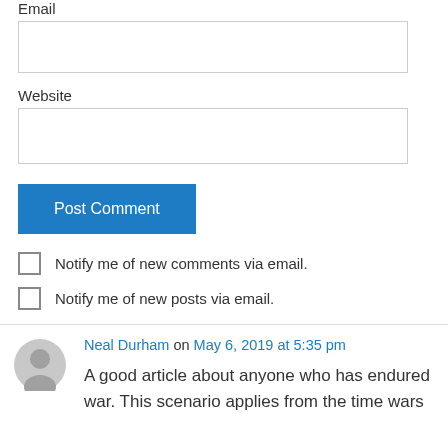Email
Website
Post Comment
Notify me of new comments via email.
Notify me of new posts via email.
Neal Durham on May 6, 2019 at 5:35 pm
A good article about anyone who has endured war. This scenario applies from the time wars